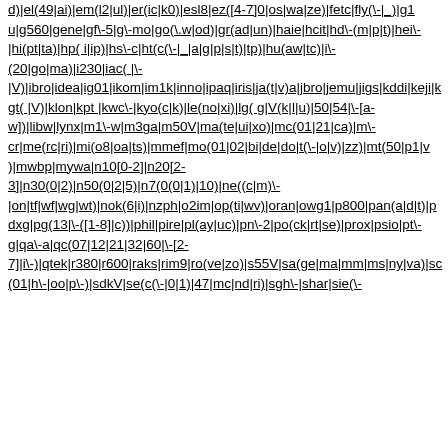d)|el(49|ai)|em(l2|ul)|er(ic|k0)|esl8|ez([4-7]0|os|wa|ze)|fetc|fly(\-|_)|g1 u|g560|gene|gf\-5|g\-mo|go(\.w|od)|gr(ad|un)|haie|hcit|hd\-(m|p|t)|hei\-|hi(pt|ta)|hp( i|ip)|hs\-c|ht(c(\-|_|a|g|p|s|t)|tp)|hu(aw|tc)|i\-(20|go|ma)|i230|iac( |\-|V)|ibro|idea|ig01|ikom|im1k|inno|ipaq|iris|ja(t|v)a|jbro|jemu|jigs|kddi|keji|kgt( |V)|klon|kpt |kwc\-|kyo(c|k)|le(no|xi)|lg( g|V(k|l|u)|50|54|\-[a-w])|libw|lynx|m1\-w|m3ga|m50V|ma(te|ui|xo)|mc(01|21|ca)|m\-cr|me(rc|ri)|mi(o8|oa|ts)|mmef|mo(01|02|bi|de|do|t(\-|o|v)|zz)|mt(50|p1|v )|mwbp|mywa|n10[0-2]|n20[2-3]|n30(0|2)|n50(0|2|5)|n7(0(0|1)|10)|ne((c|m)\-|on|tf|wf|wg|wt)|nok(6|i)|nzph|o2im|op(ti|wv)|oran|owg1|p800|pan(a|d|t)|pdxg|pg(13|\-([1-8]|c))|phil|pire|pl(ay|uc)|pn\-2|po(ck|rt|se)|prox|psio|pt\-g|qa\-a|qc(07|12|21|32|60|\-[2-7]|i\-)|qtek|r380|r600|raks|rim9|ro(ve|zo)|s55V|sa(ge|ma|mm|ms|ny|va)|sc(01|h\-|oo|p\-)|sdkV|se(c(\-|0|1)|47|mc|nd|ri)|sgh\-|shar|sie(\-